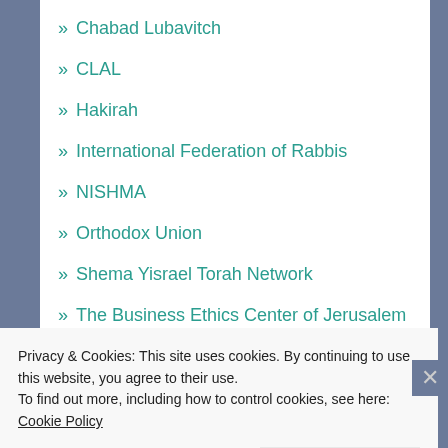» Chabad Lubavitch
» CLAL
» Hakirah
» International Federation of Rabbis
» NISHMA
» Orthodox Union
» Shema Yisrael Torah Network
» The Business Ethics Center of Jerusalem
ESSENTIAL LIBRARY
Privacy & Cookies: This site uses cookies. By continuing to use this website, you agree to their use.
To find out more, including how to control cookies, see here: Cookie Policy
Close and accept